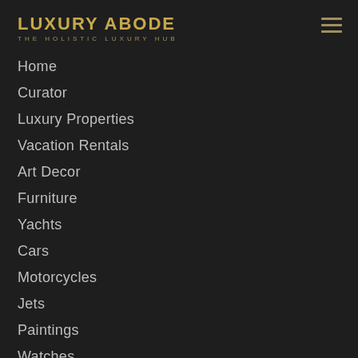LUXURY ABODE
THE HOLISTIC LUXURY HUB
Home
Curator
Luxury Properties
Vacation Rentals
Art Decor
Furniture
Yachts
Cars
Motorcycles
Jets
Paintings
Watches
Fashion
Hotels